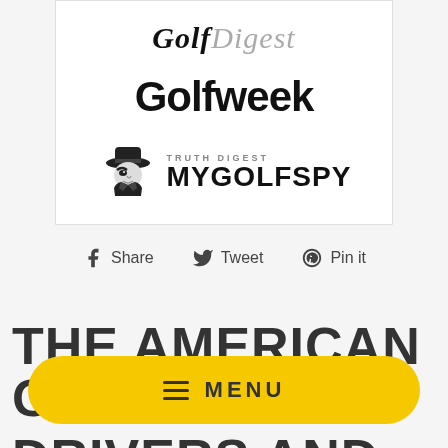[Figure (logo): Golf Digest logo - serif italic font with Golf in black and Digest in gray]
[Figure (logo): Golfweek logo - bold sans-serif black text]
[Figure (logo): MyGolfSpy Truth Digest logo with spy character icon]
Share   Tweet   Pin it
THE AMERICAN GOLF DRIVERS AND